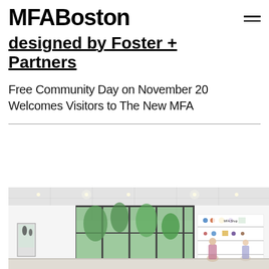MFABoston
designed by Foster + Partners
Free Community Day on November 20 Welcomes Visitors to The New MFA
[Figure (photo): Interior of MFA Boston museum shop/gallery with large floor-to-ceiling glass windows looking out to green trees, display cases with art objects, shelving with merchandise, bright ceiling with recessed lighting, visitors browsing]